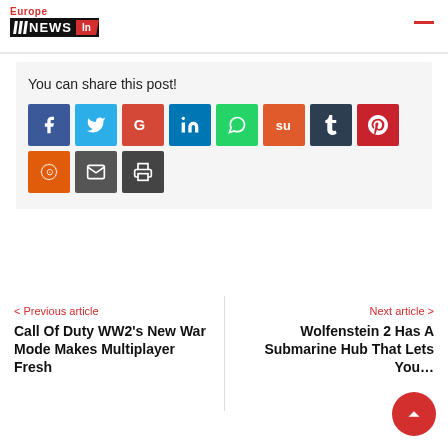Europe NEWS In
You can share this post!
[Figure (infographic): Social share buttons: Facebook, Twitter, Google+, LinkedIn, WhatsApp, StumbleUpon, Tumblr, Pinterest, Reddit, Email, Print]
< Previous article
Call Of Duty WW2's New War Mode Makes Multiplayer Fresh
Next article >
Wolfenstein 2 Has A Submarine Hub That Lets You…